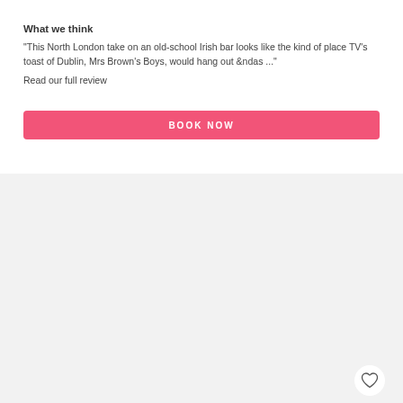What we think
"This North London take on an old-school Irish bar looks like the kind of place TV's toast of Dublin, Mrs Brown's Boys, would hang out &ndas ..." Read our full review
[Figure (other): Pink BOOK NOW button]
[Figure (other): Light grey content panel with a heart/favorite icon in the top right corner]